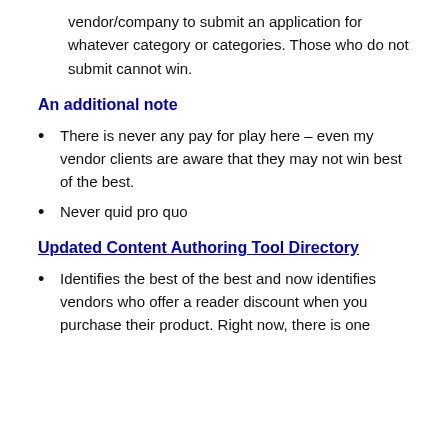vendor/company to submit an application for whatever category or categories. Those who do not submit cannot win.
An additional note
There is never any pay for play here – even my vendor clients are aware that they may not win best of the best.
Never quid pro quo
Updated Content Authoring Tool Directory
Identifies the best of the best and now identifies vendors who offer a reader discount when you purchase their product. Right now, there is one